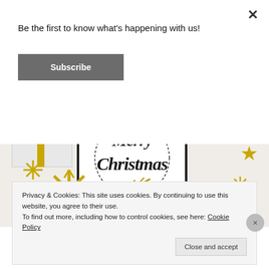Be the first to know what's happening with us!
Subscribe
[Figure (illustration): Merry Christmas decorative image with gold snowflakes, stars, gift box, and cursive 'Merry Christmas' lettering inside a black frame on white background.]
Privacy & Cookies: This site uses cookies. By continuing to use this website, you agree to their use.
To find out more, including how to control cookies, see here: Cookie Policy
Close and accept